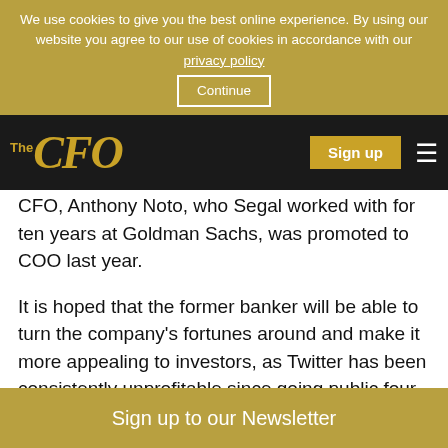We use cookies to give you the best online experience. By using our website you agree to our use of cookies in accordance with our privacy policy   Continue
[Figure (logo): The CFO logo in gold italic serif font on dark background with Sign up button and hamburger menu]
CFO, Anthony Noto, who Segal worked with for ten years at Goldman Sachs, was promoted to COO last year.
It is hoped that the former banker will be able to turn the company's fortunes around and make it more appealing to investors, as Twitter has been consistently unprofitable since going public four years ago.
2. FCA proposes new premium listing category for sovereign-controlled companies
Sign up to our Newsletter